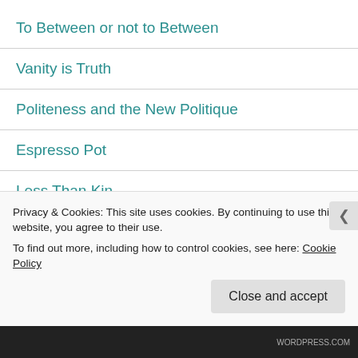To Between or not to Between
Vanity is Truth
Politeness and the New Politique
Espresso Pot
Less Than Kin
I Become a Member of the Past Again
† Impure Blood [Short Story]
Privacy & Cookies: This site uses cookies. By continuing to use this website, you agree to their use.
To find out more, including how to control cookies, see here: Cookie Policy